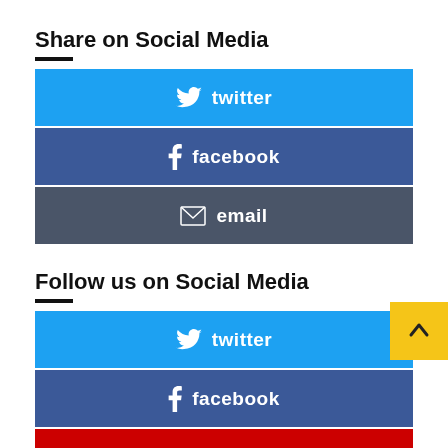Share on Social Media
twitter
facebook
email
Follow us on Social Media
twitter
facebook
youtube